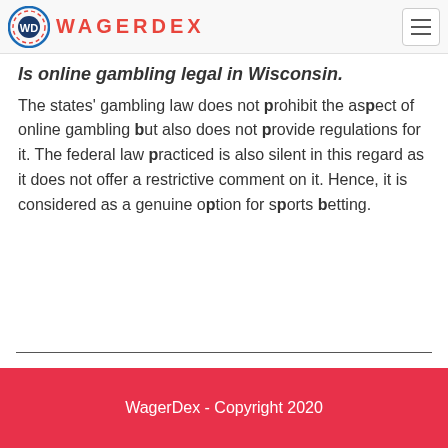WAGERDEX
Is online gambling legal in Wisconsin.
The states' gambling law does not prohibit the aspect of online gambling but also does not provide regulations for it. The federal law practiced is also silent in this regard as it does not offer a restrictive comment on it. Hence, it is considered as a genuine option for sports betting.
WagerDex - Copyright 2020